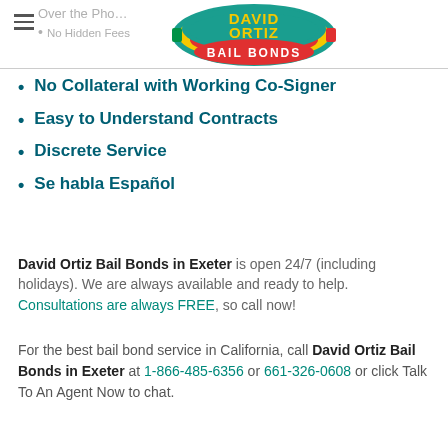[Figure (logo): David Ortiz Bail Bonds oval logo with teal/red/yellow colors]
No Collateral with Working Co-Signer
Easy to Understand Contracts
Discrete Service
Se habla Español
David Ortiz Bail Bonds in Exeter is open 24/7 (including holidays). We are always available and ready to help. Consultations are always FREE, so call now!
For the best bail bond service in California, call David Ortiz Bail Bonds in Exeter at 1-866-485-6356 or 661-326-0608 or click Talk To An Agent Now to chat.